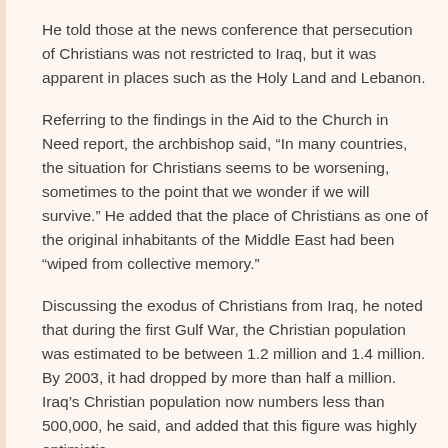He told those at the news conference that persecution of Christians was not restricted to Iraq, but it was apparent in places such as the Holy Land and Lebanon.
Referring to the findings in the Aid to the Church in Need report, the archbishop said, “In many countries, the situation for Christians seems to be worsening, sometimes to the point that we wonder if we will survive.” He added that the place of Christians as one of the original inhabitants of the Middle East had been “wiped from collective memory.”
Discussing the exodus of Christians from Iraq, he noted that during the first Gulf War, the Christian population was estimated to be between 1.2 million and 1.4 million. By 2003, it had dropped by more than half a million. Iraq’s Christian population now numbers less than 500,000, he said, and added that this figure was highly optimistic.